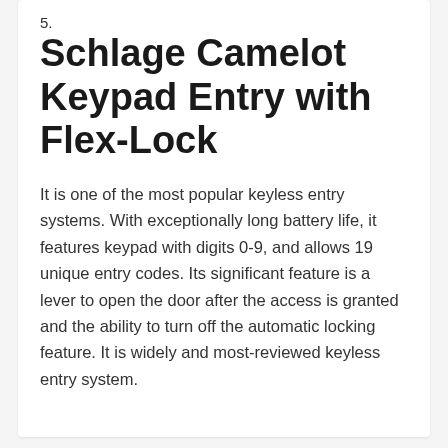5. Schlage Camelot Keypad Entry with Flex-Lock
It is one of the most popular keyless entry systems. With exceptionally long battery life, it features keypad with digits 0-9, and allows 19 unique entry codes. Its significant feature is a lever to open the door after the access is granted and the ability to turn off the automatic locking feature. It is widely and most-reviewed keyless entry system.
← Taranis, Intelligent Agriculture Market Leader Gains Funding of $ 20 Million for Crop